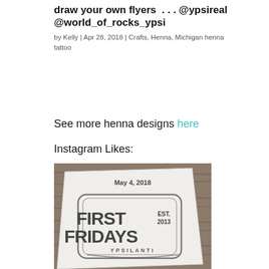draw your own flyers . . . @ypsireal @world_of_rocks_ypsi
by Kelly | Apr 28, 2018 | Crafts, Henna, Michigan henna
tattoo
See more henna designs here
Instagram Likes:
[Figure (photo): Photo of a First Fridays Ypsilanti flyer on a wooden surface. The flyer shows a stamp-style logo reading 'FIRST FRIDAYS YPSILANTI EST. 2013'. At the top of the flyer is the text 'May 4, 2018'.]